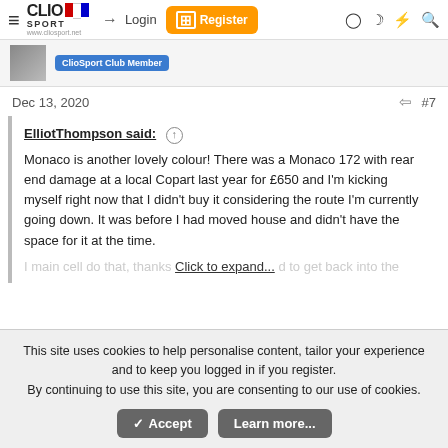ClioSport — Login | Register
ClioSport Club Member
Dec 13, 2020  #7
ElliotThompson said: ↑
Monaco is another lovely colour! There was a Monaco 172 with rear end damage at a local Copart last year for £650 and I'm kicking myself right now that I didn't buy it considering the route I'm currently going down. It was before I had moved house and didn't have the space for it at the time.
Click to expand...
This site uses cookies to help personalise content, tailor your experience and to keep you logged in if you register.
By continuing to use this site, you are consenting to our use of cookies.
Accept    Learn more...